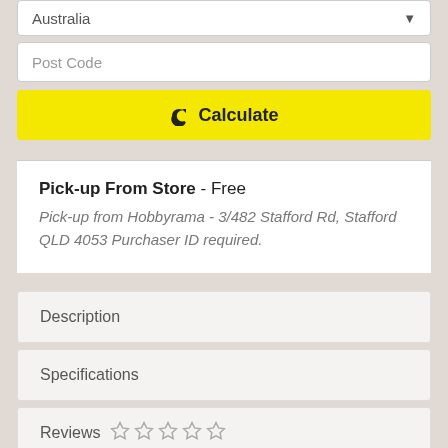Australia
Post Code
Calculate
Pick-up From Store - Free
Pick-up from Hobbyrama - 3/482 Stafford Rd, Stafford QLD 4053 Purchaser ID required.
Description
Specifications
Reviews